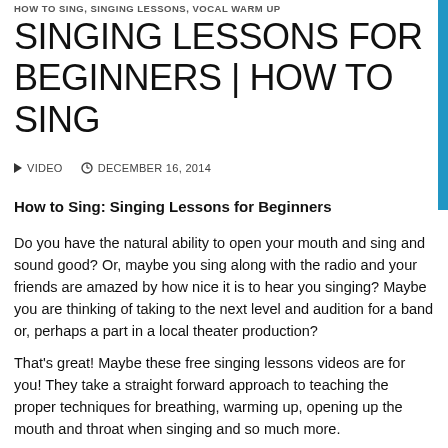HOW TO SING, SINGING LESSONS, VOCAL WARM UP
SINGING LESSONS FOR BEGINNERS | HOW TO SING
▶ VIDEO   🕐 DECEMBER 16, 2014
How to Sing: Singing Lessons for Beginners
Do you have the natural ability to open your mouth and sing and sound good? Or, maybe you sing along with the radio and your friends are amazed by how nice it is to hear you singing? Maybe you are thinking of taking to the next level and audition for a band or, perhaps a part in a local theater production?
That's great!  Maybe these free singing lessons videos are for you!  They take a straight forward approach to teaching the proper techniques for breathing, warming up, opening up the mouth and throat when singing and so much more.